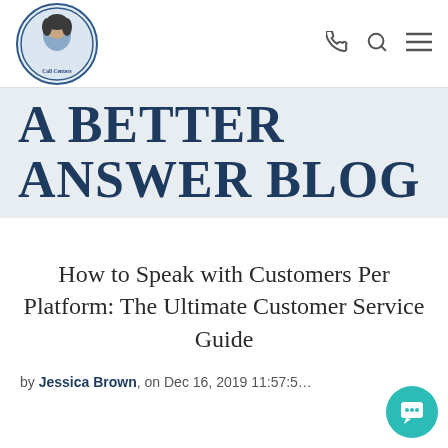A Better Answer Call Centers — navigation bar with logo, phone, search, and menu icons
A BETTER ANSWER BLOG
How to Speak with Customers Per Platform: The Ultimate Customer Service Guide
by Jessica Brown, on Dec 16, 2019 11:57:5...